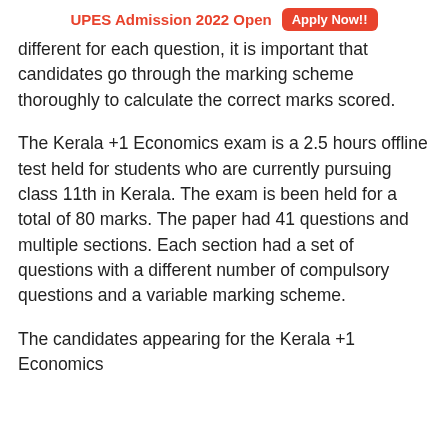UPES Admission 2022 Open   Apply Now!!
different for each question, it is important that candidates go through the marking scheme thoroughly to calculate the correct marks scored.
The Kerala +1 Economics exam is a 2.5 hours offline test held for students who are currently pursuing class 11th in Kerala. The exam is been held for a total of 80 marks. The paper had 41 questions and multiple sections. Each section had a set of questions with a different number of compulsory questions and a variable marking scheme.
The candidates appearing for the Kerala +1 Economics